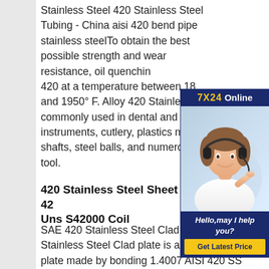Stainless Steel 420 Stainless Steel Tubing - China aisi 420 bend pipe stainless steelTo obtain the best possible strength and wear resistance, oil quenching 420 at a temperature between 18 and 1950° F. Alloy 420 Stainless commonly used in dental and surgical instruments, cutlery, plastics molds, shafts, steel balls, and numerous tool.
[Figure (photo): Customer service representative (woman with headset) with overlay banner showing '7X24 Online', 'Hello,may I help you?' text and 'Get Latest Price' button on dark navy background.]
420 Stainless Steel Sheet AISI 42 Uns S42000 Coil
SAE 420 Stainless Steel Clad plate SAE 420 Stainless Steel Clad plate is a composite steel plate made by bonding 1.4007 AISI 420 SS plate, etc. SS 420 Grade Strip cold-rolled material under